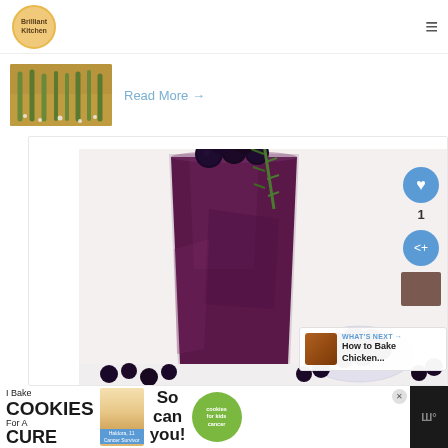Brilliant Kitchen
[Figure (photo): Food thumbnail showing asparagus and salt]
Read More →
[Figure (photo): Blueberry smoothie in a glass garnished with rosemary and fresh blueberries, with a bowl of blueberries in the background]
WHAT'S NEXT → How to Bake Chicken...
[Figure (photo): Advertisement banner: I Bake COOKIES For A CURE - Haldora, 11 Cancer Survivor - So can you! - cookies for kids cancer]